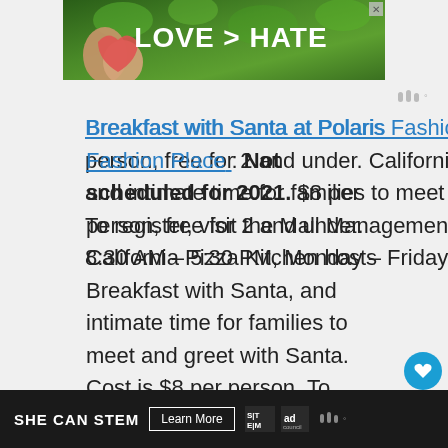[Figure (photo): Top banner advertisement with green nature background and hands forming a heart shape. Text reads LOVE > HATE with an X close button.]
Breakfast with Santa at Polaris Fashion Place: Not scheduled for 2021. $8 per person, free for 2 and under. California Pizza Kitchen hosts Breakfast with Santa, and intimate time for families to meet and greet with Santa. Cost is $8 per person. To register, visit the Mall Management Office located between Subway and Sbarro. 8:30 AM – 5:30 PM, Monday – Friday.
[Figure (other): Bottom advertisement bar with dark background. SHE CAN STEM text, Learn More button, STEM logo, Ad Council logo, and weather icon.]